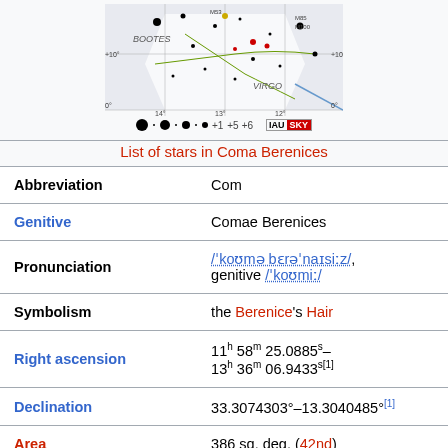[Figure (other): Star map of Coma Berenices constellation showing surrounding constellations BOOTES and VIRGO, with magnitude legend and IAU/SKY logos]
List of stars in Coma Berenices
| Property | Value |
| --- | --- |
| Abbreviation | Com |
| Genitive | Comae Berenices |
| Pronunciation | /ˈkoʊmə bɛrəˈnaɪsiːz/, genitive /ˈkoʊmiː/ |
| Symbolism | the Berenice's Hair |
| Right ascension | 11h 58m 25.0885s– 13h 36m 06.9433s[1] |
| Declination | 33.3074303°–13.3040485°[1] |
| Area | 386 sq. deg. (42nd) |